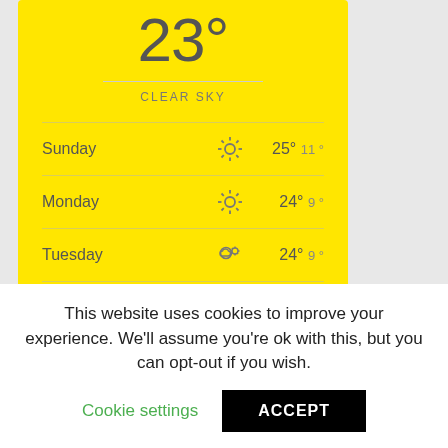[Figure (screenshot): Weather widget showing 23° Clear Sky with 4-day forecast on yellow background]
Latest News
This website uses cookies to improve your experience. We'll assume you're ok with this, but you can opt-out if you wish.
Cookie settings   ACCEPT